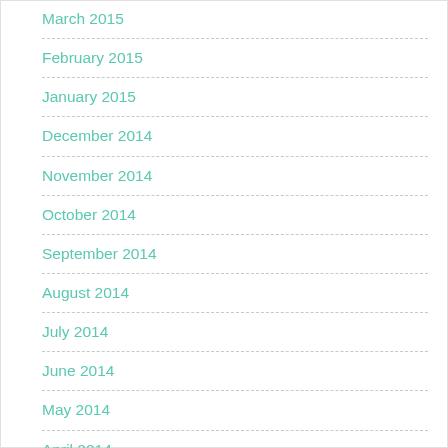March 2015
February 2015
January 2015
December 2014
November 2014
October 2014
September 2014
August 2014
July 2014
June 2014
May 2014
April 2014